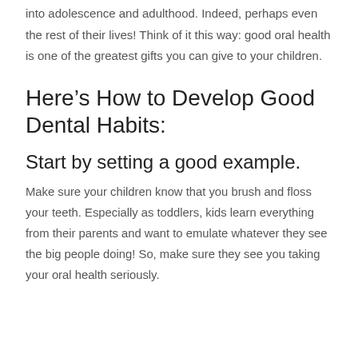into adolescence and adulthood. Indeed, perhaps even the rest of their lives! Think of it this way: good oral health is one of the greatest gifts you can give to your children.
Here's How to Develop Good Dental Habits:
Start by setting a good example.
Make sure your children know that you brush and floss your teeth. Especially as toddlers, kids learn everything from their parents and want to emulate whatever they see the big people doing! So, make sure they see you taking your oral health seriously.